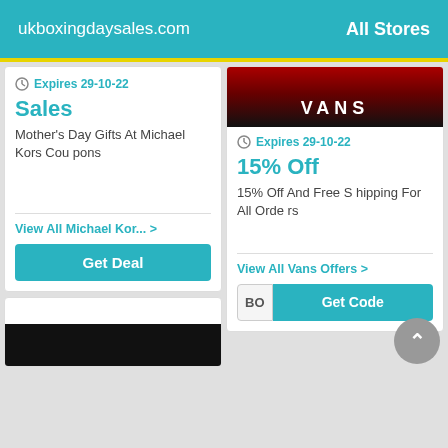ukboxingdaysales.com   All Stores
[Figure (screenshot): Left coupon card: Expires 29-10-22, Sales, Mother's Day Gifts At Michael Kors Coupons, View All Michael Kor... >, Get Deal button]
[Figure (screenshot): Right coupon card: Vans store image, Expires 29-10-22, 15% Off, 15% Off And Free Shipping For All Orders, View All Vans Offers >, BO Get Code button]
[Figure (screenshot): Bottom left partial card with dark store image]